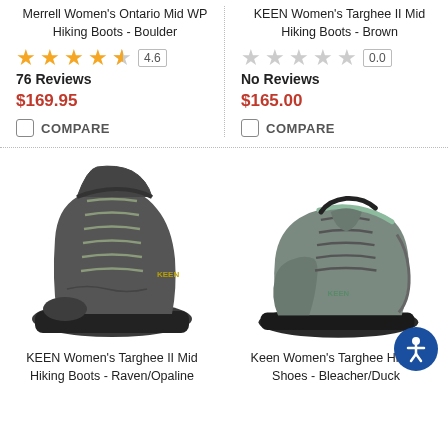Merrell Women's Ontario Mid WP Hiking Boots - Boulder
4.6, 76 Reviews, $169.95, COMPARE
KEEN Women's Targhee II Mid Hiking Boots - Brown
0.0, No Reviews, $165.00, COMPARE
[Figure (photo): KEEN Women's Targhee II Mid Hiking Boots - Raven/Opaline, a dark gray mid-cut hiking boot with laces]
KEEN Women's Targhee II Mid Hiking Boots - Raven/Opaline
[Figure (photo): Keen Women's Targhee Hiking Shoes - Bleacher/Duck, a gray low-cut hiking shoe]
Keen Women's Targhee Hiking Shoes - Bleacher/Duck